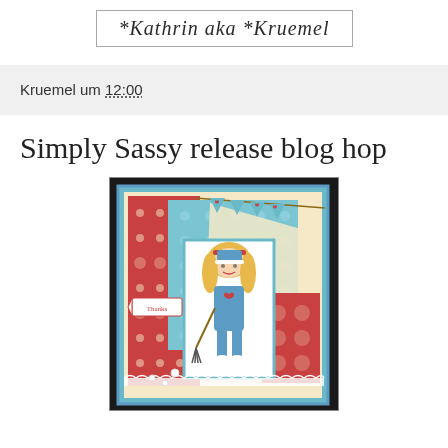*Kathrin aka *Kruemel
Kruemel um 12:00
Simply Sassy release blog hop
[Figure (photo): A handmade craft card featuring a girl character in blue winter clothing holding a broom, surrounded by teal, red and cream patterned paper layers, bunting flags with red hearts at the top, a 'Thanks' banner tag, lace trim at the bottom, and decorative pearl embellishments. The card is displayed against a dark background.]